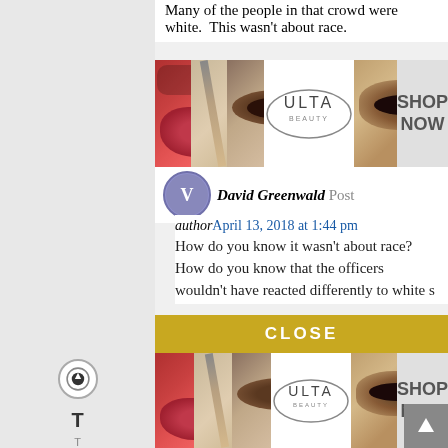Many of the people in that crowd were white.  This wasn't about race.
[Figure (photo): ULTA Beauty advertisement banner with makeup images (lips, brush, eyes) and 'SHOP NOW' button]
David Greenwald Post
author April 13, 2018 at 1:44 pm
How do you know it wasn't about race? How do you know that the officers wouldn't have reacted differently to white s[tudents]
[Figure (other): Black rectangle overlay (video/ad overlay)]
Ro[...]
Regarding[...] way, or an[...]
Regarding age, I think most folks are responded to differently, a[nd] [y]et [b]ecause [t]he [a]ge
[Figure (photo): ULTA Beauty advertisement banner (bottom) with makeup images and 'SHOP NOW' button]
CLOSE